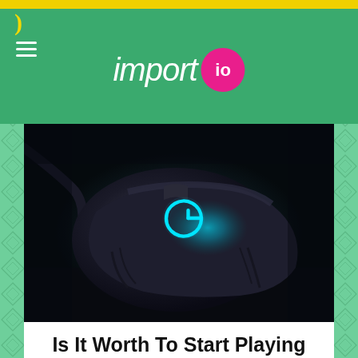import io
[Figure (photo): Close-up photo of a Logitech gaming mouse (black) with glowing cyan Logitech G logo, resting on a dark surface/mousepad]
Is It Worth To Start Playing Rise Of Kingdoms
08/03/2020